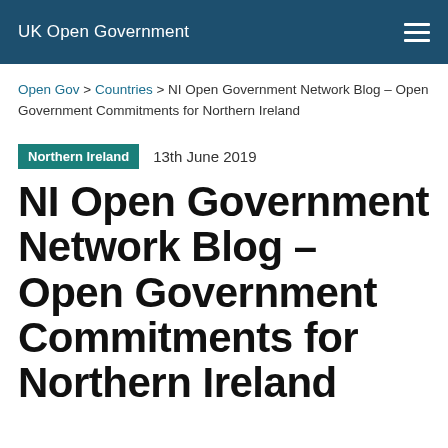UK Open Government
Open Gov > Countries > NI Open Government Network Blog – Open Government Commitments for Northern Ireland
Northern Ireland   13th June 2019
NI Open Government Network Blog – Open Government Commitments for Northern Ireland